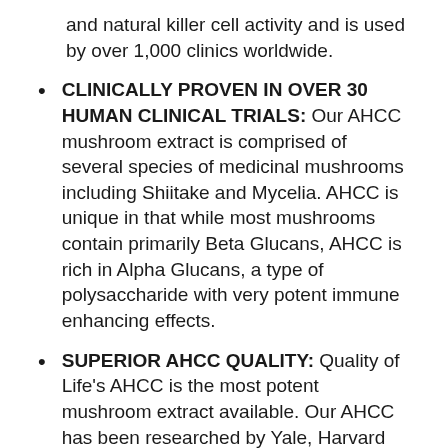and natural killer cell activity and is used by over 1,000 clinics worldwide.
CLINICALLY PROVEN IN OVER 30 HUMAN CLINICAL TRIALS: Our AHCC mushroom extract is comprised of several species of medicinal mushrooms including Shiitake and Mycelia. AHCC is unique in that while most mushrooms contain primarily Beta Glucans, AHCC is rich in Alpha Glucans, a type of polysaccharide with very potent immune enhancing effects.
SUPERIOR AHCC QUALITY: Quality of Life's AHCC is the most potent mushroom extract available. Our AHCC has been researched by Yale, Harvard and used by thousands of people